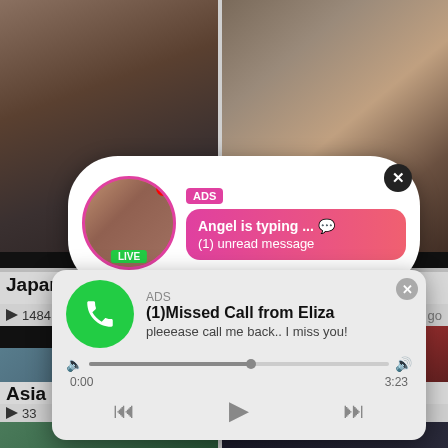[Figure (screenshot): Adult video website grid layout showing video thumbnails in two columns]
Japanese
Bitch
1484
go
Asi
33
[Figure (screenshot): Ad notification popup: chat bubble with avatar showing LIVE badge, ADS label, message 'Angel is typing ... (1) unread message' with pink gradient background and X close button]
[Figure (screenshot): Ad notification popup: missed call style card with green phone icon, ADS label, '(1)Missed Call from Eliza', 'pleeease call me back.. I miss you!', audio player bar, time 0:00 to 3:23, playback controls]